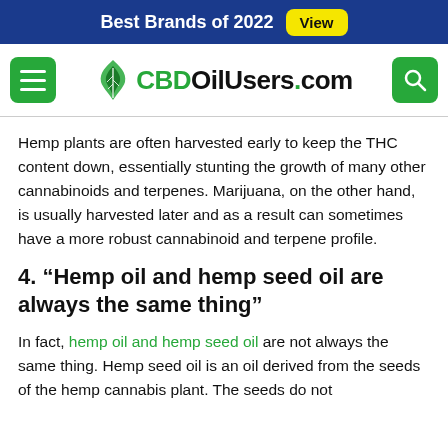Best Brands of 2022  View
[Figure (logo): CBDOilUsers.com logo with green hemp leaf icon, hamburger menu button on left, search button on right]
Hemp plants are often harvested early to keep the THC content down, essentially stunting the growth of many other cannabinoids and terpenes. Marijuana, on the other hand, is usually harvested later and as a result can sometimes have a more robust cannabinoid and terpene profile.
4. “Hemp oil and hemp seed oil are always the same thing”
In fact, hemp oil and hemp seed oil are not always the same thing. Hemp seed oil is an oil derived from the seeds of the hemp cannabis plant. The seeds do not